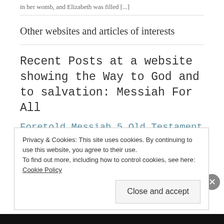in her womb, and Elizabeth was filled [...]
Other websites and articles of interests
Recent Posts at a website showing the Way to God and to salvation: Messiah For All
Foretold Messiah 5 Old Testament pointing to
Privacy & Cookies: This site uses cookies. By continuing to use this website, you agree to their use.
To find out more, including how to control cookies, see here: Cookie Policy
Close and accept